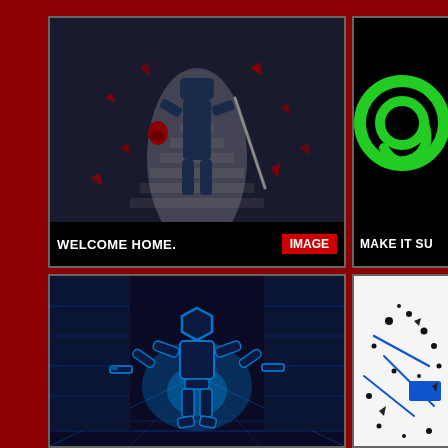[Figure (illustration): Dark armored warrior figure holding a red skull in one hand and a sword in the other, standing against a pixelated staircase background with red shards flying around. Caption bar at bottom reads WELCOME HOME. with IMAGE badge.]
[Figure (logo): Black background with a green stylized @ symbol logo. Caption bar at bottom reads MAKE IT SU...]
[Figure (illustration): Blue glowing stick figure robot with hexagon head, holding dual pistols, standing in a neon retro corridor with grid floor.]
[Figure (illustration): White background with blue geometric shapes, lines and scattered black debris/dots. A blue rectangular object visible.]